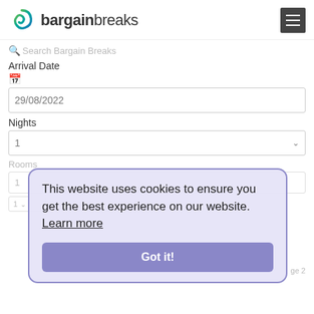bargain breaks
Search Bargain Breaks
Arrival Date
29/08/2022
Nights
1
Rooms
1
This website uses cookies to ensure you get the best experience on our website. Learn more
Got it!
1  0  0  0